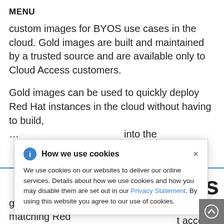MENU
custom images for BYOS use cases in the cloud. Gold images are built and maintained by a trusted source and are available only to Cloud Access customers.
Gold images can be used to quickly deploy Red Hat instances in the cloud without having to build, …into the
mages
enefit to t access t
gold images, customers must have a matching Red
[Figure (screenshot): Cookie consent dialog: 'How we use cookies' with blue info icon and close (×) button. Body text: 'We use cookies on our websites to deliver our online services. Details about how we use cookies and how you may disable them are set out in our Privacy Statement. By using this website you agree to our use of cookies.']